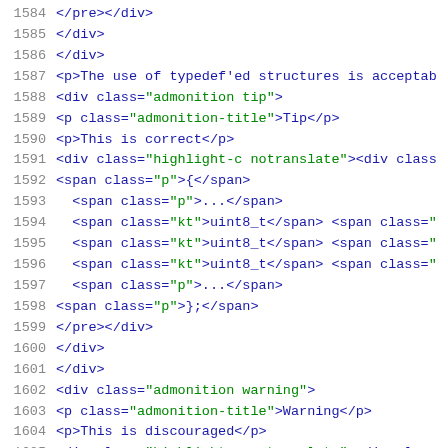1584   </pre></div>
1585   </div>
1586   </div>
1587   <p>The use of typedef'ed structures is acceptab
1588   <div class="admonition tip">
1589   <p class="admonition-title">Tip</p>
1590   <p>This is correct</p>
1591   <div class="highlight-c notranslate"><div class
1592   <span class="p">{</span>
1593     <span class="p">...</span>
1594     <span class="kt">uint8_t</span> <span class="
1595     <span class="kt">uint8_t</span> <span class="
1596     <span class="kt">uint8_t</span> <span class="
1597     <span class="p">...</span>
1598   <span class="p">};</span>
1599   </pre></div>
1600   </div>
1601   </div>
1602   <div class="admonition warning">
1603   <p class="admonition-title">Warning</p>
1604   <p>This is discouraged</p>
1605   <div class="highlight-c notranslate"><div class